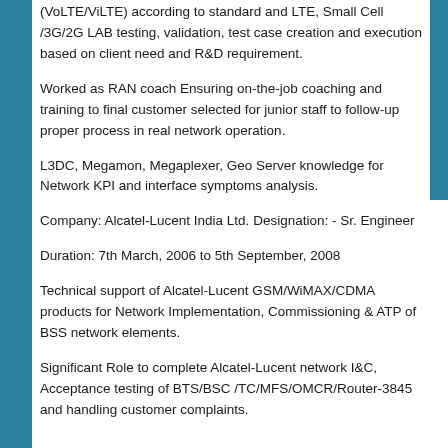(VoLTE/ViLTE) according to standard and LTE, Small Cell /3G/2G LAB testing, validation, test case creation and execution based on client need and R&D requirement.
Worked as RAN coach Ensuring on-the-job coaching and training to final customer selected for junior staff to follow-up proper process in real network operation.
L3DC, Megamon, Megaplexer, Geo Server knowledge for Network KPI and interface symptoms analysis.
Company: Alcatel-Lucent India Ltd. Designation: - Sr. Engineer
Duration: 7th March, 2006 to 5th September, 2008
Technical support of Alcatel-Lucent GSM/WiMAX/CDMA products for Network Implementation, Commissioning & ATP of BSS network elements.
Significant Role to complete Alcatel-Lucent network I&C, Acceptance testing of BTS/BSC /TC/MFS/OMCR/Router-3845 and handling customer complaints.